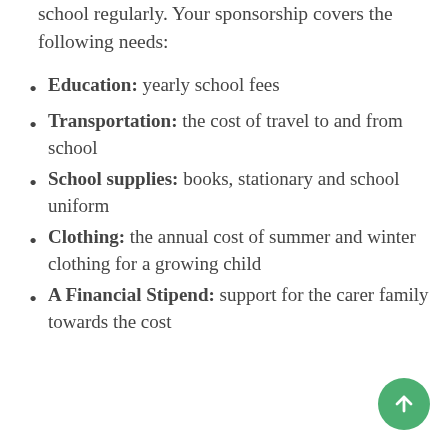school regularly. Your sponsorship covers the following needs:
Education: yearly school fees
Transportation: the cost of travel to and from school
School supplies: books, stationary and school uniform
Clothing: the annual cost of summer and winter clothing for a growing child
A Financial Stipend: support for the carer family towards the cost